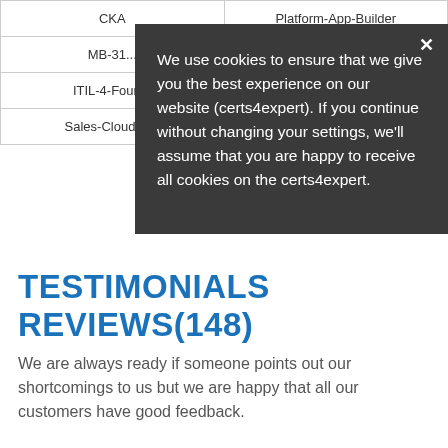| Exam | Provider |
| --- | --- |
| CKA | Platform-App-Builder |
| MB-31... |  |
| ITIL-4-Foun... |  |
| Sales-Cloud-C... |  |
[Figure (screenshot): Cookie consent modal overlay with dark background. Close button (×) in top right. Text: 'We use cookies to ensure that we give you the best experience on our website (certs4expert). If you continue without changing your settings, we’ll assume that you are happy to receive all cookies on the certs4expert.']
TESTIMONIALS REVIEWS(148)
We are always ready if someone points out our shortcomings to us but we are happy that all our customers have good feedback.